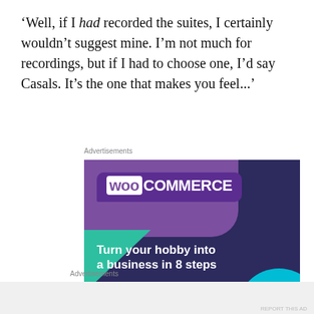‘Well, if I had recorded the suites, I certainly wouldn’t suggest mine. I’m not much for recordings, but if I had to choose one, I’d say Casals. It’s the one that makes you feel...’
Advertisements
[Figure (photo): WooCommerce advertisement banner: purple and dark blue background with teal and cyan accents. Shows WooCommerce logo and text 'Turn your hobby into a business in 8 steps' with a 'Start a new store' button.]
Advertisements